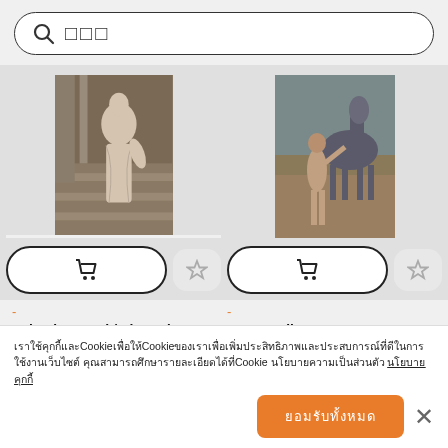[Figure (screenshot): Search bar with magnifying glass icon and placeholder text (Japanese characters)]
[Figure (photo): Sculpture of a draped female figure on a staircase, Casa Llotja, 1802]
[Figure (photo): Picasso painting: Boy Leading a Horse, a nude boy standing next to a horse]
[Figure (other): Add to cart button with shopping cart icon]
[Figure (other): Star/favorite button]
[Figure (other): Add to cart button with shopping cart icon]
[Figure (other): Star/favorite button]
-
-
Salvador Gurri / The Industry, 1802, Casa Llotja
Boy Leading a Horse.
Boy Leading a Horse. Museum: The
เราใช้คุกกี้และCookieเพื่อให้Cookieของเราเพื่อเพิ่มประสิทธิภาพและประสบการณ์ที่ดีในการใช้งานเว็บไซต์ คุณสามารถศึกษารายละเอียดได้ที่Cookie นโยบายความเป็นส่วนตัว นโยบายคุกกี้
ยอมรับทั้งหมด